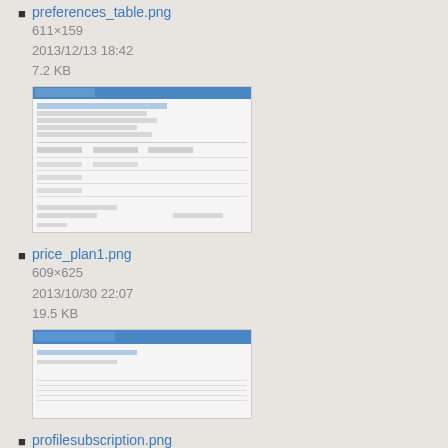preferences_table.png
611×159
2013/12/13 18:42
7.2 KB
[Figure (screenshot): Thumbnail of preferences_table.png showing a form/table interface with blue header and grid lines]
price_plan1.png
609×625
2013/10/30 22:07
19.5 KB
[Figure (screenshot): Thumbnail of price_plan1.png showing a pricing plan interface with blue header bar and some text rows]
profilesubscription.png
1333×721
2013/04/08 23:05
33.4 KB
[Figure (screenshot): Thumbnail of profilesubscription.png showing a subscription page with orange/yellow table elements]